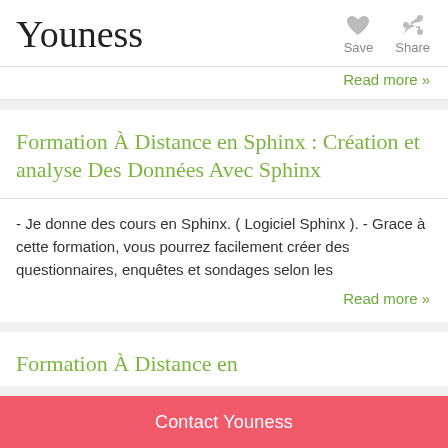Youness
Save
Share
Read more »
Formation À Distance en Sphinx : Création et analyse Des Données Avec Sphinx
- Je donne des cours en Sphinx. ( Logiciel Sphinx ). - Grace à cette formation, vous pourrez facilement créer des questionnaires, enquêtes et sondages selon les
Read more »
Formation À Distance en